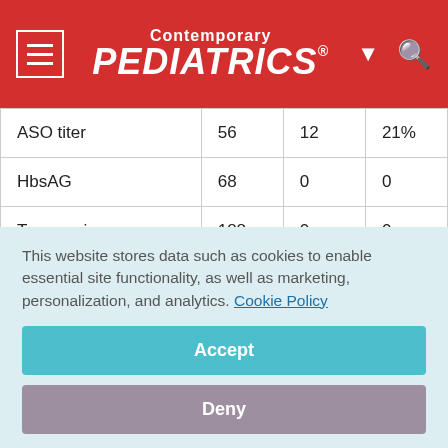Contemporary PEDIATRICS
|  |  |  |  |
| --- | --- | --- | --- |
| ASO titer | 56 | 12 | 21% |
| HbsAG | 68 | 0 | 0 |
| Transaminases | 188 | 0 | 0 |
| Protein electrophoresis | 86 | 0 | 0 |
This website stores data such as cookies to enable essential site functionality, as well as marketing, personalization, and analytics. Cookie Policy
Accept
Deny